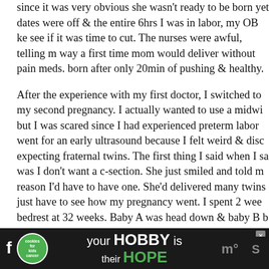since it was very obvious she wasn't ready to be born yet dates were off & the entire 6hrs I was in labor, my OB kept see if it was time to cut. The nurses were awful, telling no way a first time mom would deliver without pain meds. born after only 20min of pushing & healthy.
After the experience with my first doctor, I switched to my second pregnancy. I actually wanted to use a midwife but I was scared since I had experienced preterm labor. went for an early ultrasound because I felt weird & discovered expecting fraternal twins. The first thing I said when I saw was I don't want a c-section. She just smiled and told me reason I'd have to have one. She'd delivered many twins just have to see how my pregnancy went. I spent 2 weeks bedrest at 32 weeks. Baby A was head down & baby B but they were over 3lbs & baby b was smaller than A, I could birth. We talked risks & she told me that unless there's a problem, a c-section is always more dangerous for the mother major surgery. There's also complications for the baby.
[Figure (screenshot): Advertisement banner at bottom: dark background with cookies for kids cancer logo (green circle with white text), text 'your HOBBY is their HOPE' with social media icons on sides and close button.]